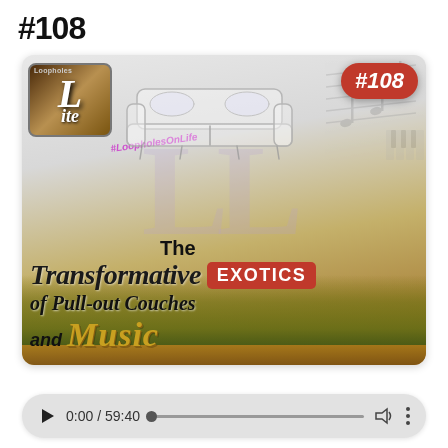#108
[Figure (illustration): Podcast episode thumbnail for episode #108. Shows a logo with large 'L' and 'ite' text in top-left, a '#108' red badge top-right, musical notes in background, a sketch of a sofa/couch in the center-top, and text overlay reading 'The Transformative EXOTICS of Pull-out Couches and Music' with colorful landscape background. Hashtag #LoopholesOnLife visible.]
0:00 / 59:40